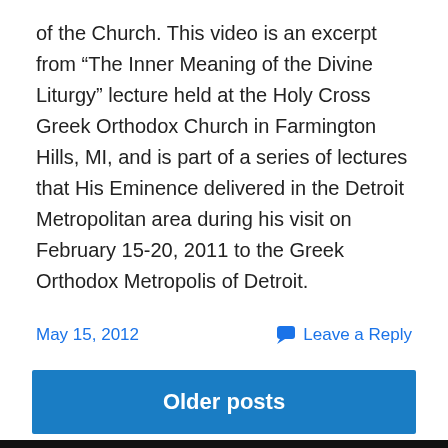of the Church. This video is an excerpt from “The Inner Meaning of the Divine Liturgy” lecture held at the Holy Cross Greek Orthodox Church in Farmington Hills, MI, and is part of a series of lectures that His Eminence delivered in the Detroit Metropolitan area during his visit on February 15-20, 2011 to the Greek Orthodox Metropolis of Detroit.
May 15, 2012
Leave a Reply
Older posts
[Figure (photo): Dark background image of what appears to be an indoor venue or church interior, partially visible at the bottom of the page.]
View Full Site